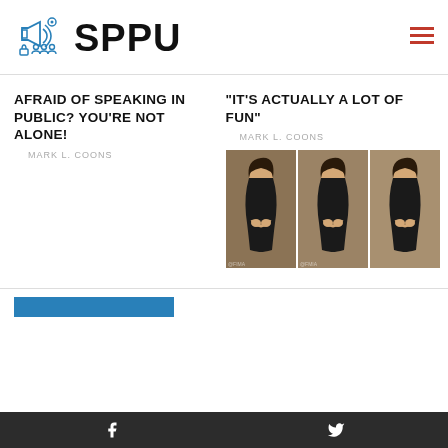SPPU
AFRAID OF SPEAKING IN PUBLIC? YOU'RE NOT ALONE!
MARK L. COONS
“IT’S ACTUALLY A LOT OF FUN”
MARK L. COONS
[Figure (photo): Three-panel photo collage of a young woman with long dark hair wearing a black outfit, appearing to be speaking or presenting, hands clasped together]
Facebook and Twitter social media icons